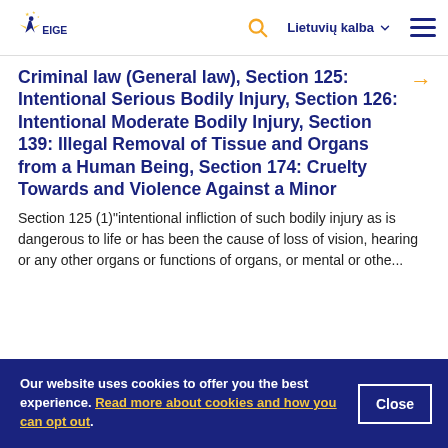EIGE — Lietuvių kalba
Criminal law (General law), Section 125: Intentional Serious Bodily Injury, Section 126: Intentional Moderate Bodily Injury, Section 139: Illegal Removal of Tissue and Organs from a Human Being, Section 174: Cruelty Towards and Violence Against a Minor
Section 125 (1)"intentional infliction of such bodily injury as is dangerous to life or has been the cause of loss of vision, hearing or any other organs or functions of organs, or mental or othe...
Our website uses cookies to offer you the best experience. Read more about cookies and how you can opt out.